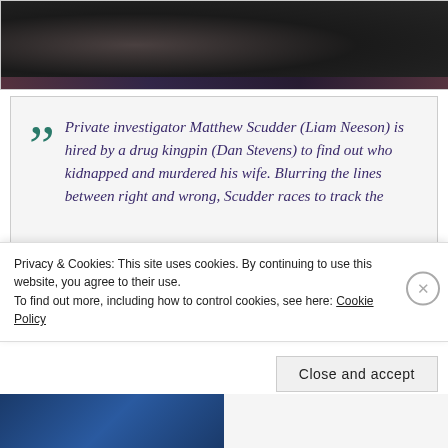[Figure (photo): Dark moody image, appears to be a film still or promotional image with dark tones, shadowy figures, and a reddish accent strip at the bottom]
“” Private investigator Matthew Scudder (Liam Neeson) is hired by a drug kingpin (Dan Stevens) to find out who kidnapped and murdered his wife. Blurring the lines between right and wrong, Scudder races to track the
Privacy & Cookies: This site uses cookies. By continuing to use this website, you agree to their use.
To find out more, including how to control cookies, see here: Cookie Policy
Close and accept